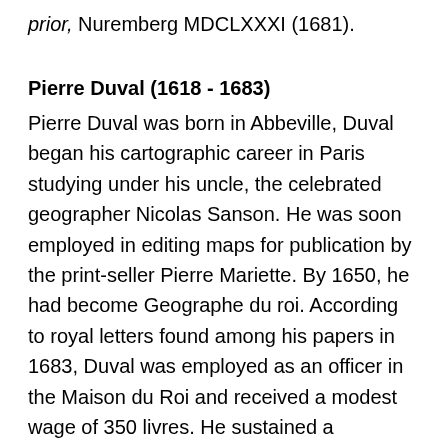prior, Nuremberg MDCLXXXI (1681).
Pierre Duval (1618 - 1683)
Pierre Duval was born in Abbeville, Duval began his cartographic career in Paris studying under his uncle, the celebrated geographer Nicolas Sanson. He was soon employed in editing maps for publication by the print-seller Pierre Mariette. By 1650, he had become Geographe du roi. According to royal letters found among his papers in 1683, Duval was employed as an officer in the Maison du Roi and received a modest wage of 350 livres. He sustained a publishing collaboration with Mariette until 1654, when he married Marie Desmaretz, the daughter of a wealthy merchant. Following this, he established himself in